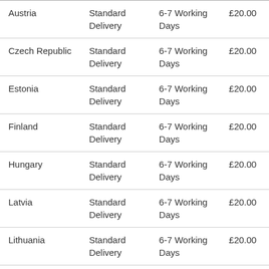| Austria | Standard Delivery | 6-7 Working Days | £20.00 |
| Czech Republic | Standard Delivery | 6-7 Working Days | £20.00 |
| Estonia | Standard Delivery | 6-7 Working Days | £20.00 |
| Finland | Standard Delivery | 6-7 Working Days | £20.00 |
| Hungary | Standard Delivery | 6-7 Working Days | £20.00 |
| Latvia | Standard Delivery | 6-7 Working Days | £20.00 |
| Lithuania | Standard Delivery | 6-7 Working Days | £20.00 |
| Norway | Standard Delivery | 6-7 Working Days | £25.00 |